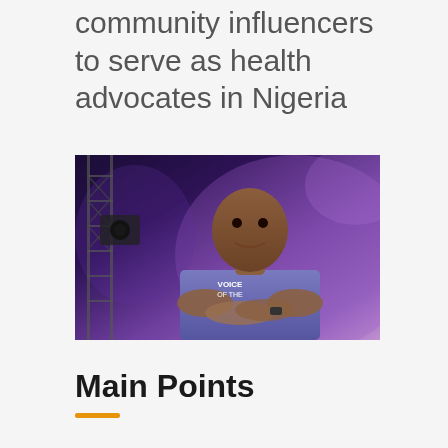community influencers to serve as health advocates in Nigeria
[Figure (photo): A smiling young man wearing a purple t-shirt with 'VOICE OF THE' text and graphic, arms crossed, standing in front of stage lighting and scaffolding with purple/violet lighting atmosphere]
Main Points